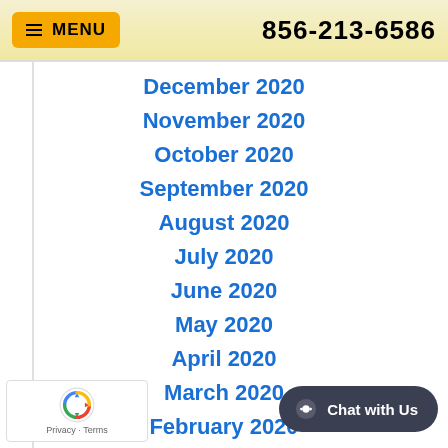MENU  856-213-6586
December 2020
November 2020
October 2020
September 2020
August 2020
July 2020
June 2020
May 2020
April 2020
March 2020
February 2020